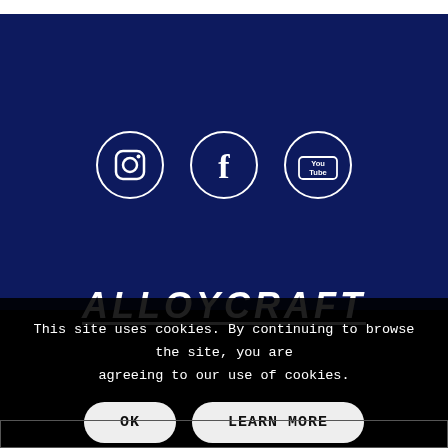[Figure (logo): Three circular social media icons on dark blue background: Instagram, Facebook, YouTube]
ALLOYCRAFT
This site uses cookies. By continuing to browse the site, you are agreeing to our use of cookies.
OK
LEARN MORE